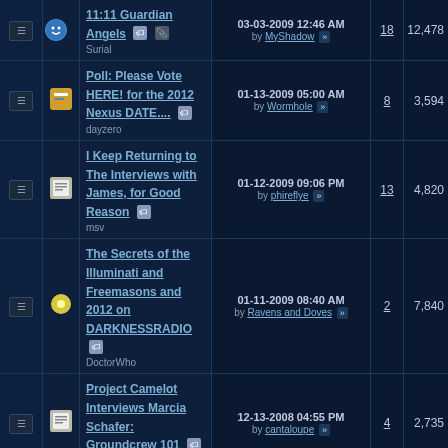|  |  | Thread | Last Post | Replies | Views |
| --- | --- | --- | --- | --- | --- |
|  |  | 11:11 Guardian Angels
Surial | 03-03-2009 12:46 AM
by MyShadow | 18 | 12,478 |
|  |  | Poll: Please Vote HERE! for the 2012 Nexus DATE....
dayzero | 01-13-2009 05:00 AM
by Wormhole | 8 | 3,594 |
|  |  | I Keep Returning to The Interviews with James, for Good Reason
msv | 01-12-2009 09:06 PM
by phireflye | 13 | 4,820 |
|  |  | The Secrets of the Illuminati and Freemasons and 2012 on DARKNESSRADIO
DoctorWho | 01-11-2009 08:40 AM
by Ravens and Doves | 2 | 7,840 |
|  |  | Project Camelot Interviews Marcia Schafer: Groundcrew 101
Seashore | 12-13-2008 04:55 PM
by cantaloupe | 4 | 2,735 |
|  |  | Divine Cosmos UPDATE!
Reuters | 12-05-2008 05:53 PM
by Reuters | 0 | 2,811 |